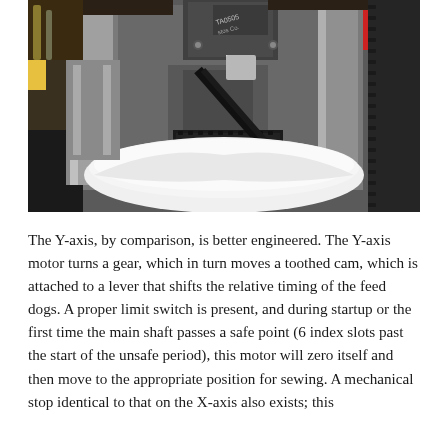[Figure (photo): Close-up photograph of a Y-axis sewing machine mechanism showing a motor with 'TA0505' label, metal rails, toothed belt/cam, and a roll of white fabric/paper feed. The machine appears to be an industrial sewing or embroidery machine with visible drive components.]
The Y-axis, by comparison, is better engineered. The Y-axis motor turns a gear, which in turn moves a toothed cam, which is attached to a lever that shifts the relative timing of the feed dogs. A proper limit switch is present, and during startup or the first time the main shaft passes a safe point (6 index slots past the start of the unsafe period), this motor will zero itself and then move to the appropriate position for sewing. A mechanical stop identical to that on the X-axis also exists; this